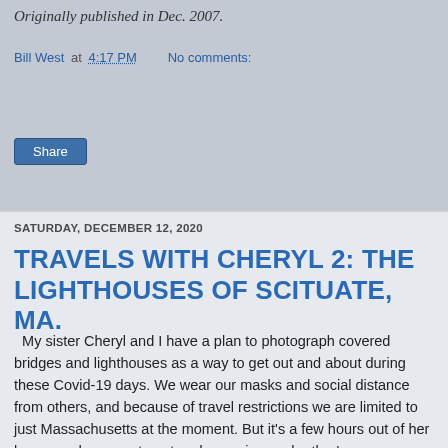Originally published in Dec. 2007.
Bill West at 4:17 PM    No comments:
Share
SATURDAY, DECEMBER 12, 2020
TRAVELS WITH CHERYL 2: THE LIGHTHOUSES OF SCITUATE, MA.
My sister Cheryl and I have a plan to photograph covered bridges and lighthouses as a way to get out and about during these Covid-19 days. We wear our masks and social distance from others, and because of travel restrictions we are limited to just Massachusetts at the moment. But it's a few hours out of her house and my apartment and we enjoy each other's company.
We didn't have far to go to visit two lighthouses. The coastal town of Scituate is only 15 miles to the east of here, so one Monday morning in mid-November we went there and took